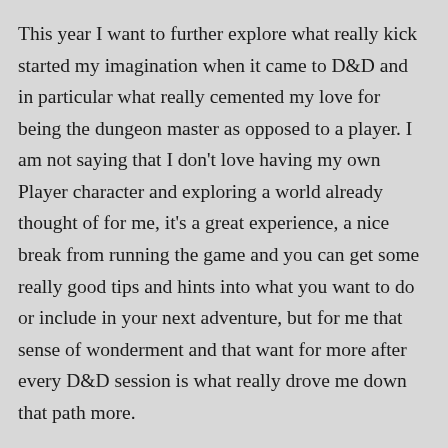This year I want to further explore what really kick started my imagination when it came to D&D and in particular what really cemented my love for being the dungeon master as opposed to a player. I am not saying that I don't love having my own Player character and exploring a world already thought of for me, it's a great experience, a nice break from running the game and you can get some really good tips and hints into what you want to do or include in your next adventure, but for me that sense of wonderment and that want for more after every D&D session is what really drove me down that path more.
So for me I hope to do justice to what I have planned and will have a relatively rapid escalation plan set in motion, each month another milestone for the party and another set of challenges and experiences for them to engage in and at the end of the year I want to have a cohesive multi-staged adventure campaign that you, I and